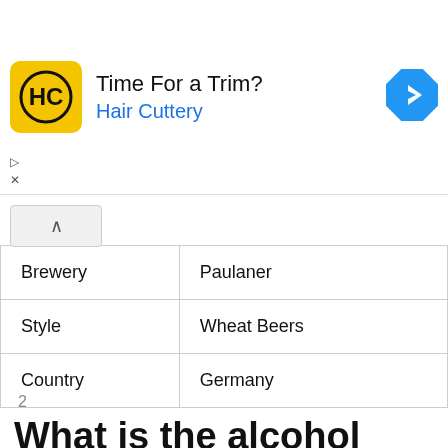[Figure (infographic): Advertisement banner for Hair Cuttery with logo, text 'Time For a Trim? Hair Cuttery', and a blue diamond navigation arrow icon on the right.]
| Brewery | Paulaner |
| Style | Wheat Beers |
| Country | Germany |
2
What is the alcohol content of Oktoberfest beer?